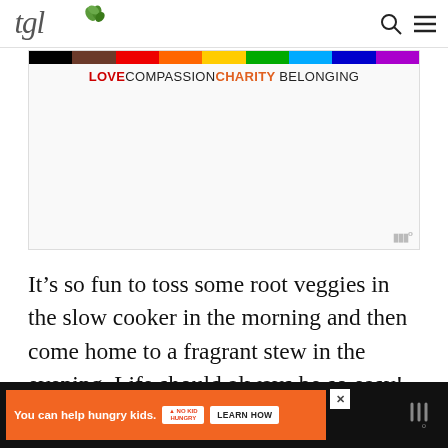tgl (logo with leaf icon), search icon, menu icon
[Figure (infographic): Pride rainbow stripe banner with text: LOVE COMPASSION CHARITY BELONGING]
It’s so fun to toss some root veggies in the slow cooker in the morning and then come home to a fragrant stew in the evening. Life should always be so easy!
[Figure (infographic): Bottom advertisement: orange banner saying 'You can help hungry kids.' with No Kid Hungry logo and LEARN HOW button on black background]